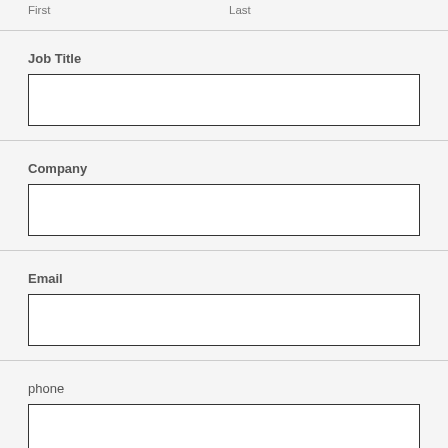First    Last
Job Title
Company
Email
phone